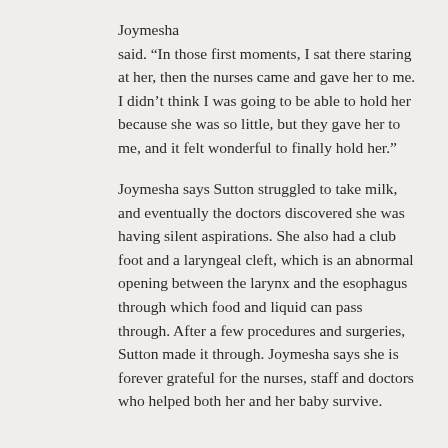Joymesha said. “In those first moments, I sat there staring at her, then the nurses came and gave her to me. I didn’t think I was going to be able to hold her because she was so little, but they gave her to me, and it felt wonderful to finally hold her.”
Joymesha says Sutton struggled to take milk, and eventually the doctors discovered she was having silent aspirations. She also had a club foot and a laryngeal cleft, which is an abnormal opening between the larynx and the esophagus through which food and liquid can pass through. After a few procedures and surgeries, Sutton made it through. Joymesha says she is forever grateful for the nurses, staff and doctors who helped both her and her baby survive.